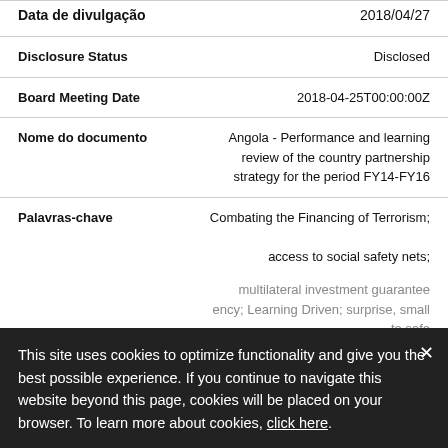| Data de divulgação | 2018/04/27 |
| Disclosure Status | Disclosed |
| Board Meeting Date | 2018-04-25T00:00:00Z |
| Nome do documento | Angola - Performance and learning review of the country partnership strategy for the period FY14-FY16 |
| Palavras-chave | Combating the Financing of Terrorism; access to social safety nets; multilateral investment guarantee; Learning Driven; surprise, small ...access to safe ...health; results framework; Public Investment Management System; life expectancy |
This site uses cookies to optimize functionality and give you the best possible experience. If you continue to navigate this website beyond this page, cookies will be placed on your browser. To learn more about cookies, click here.